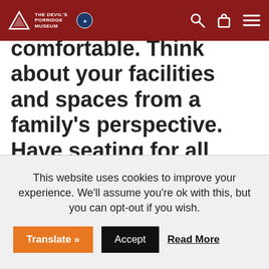The Devil's Porridge Museum
comfortable. Think about your facilities and spaces from a family's perspective. Have seating for all generations to enjoy a rest. Can you provide a picnic area, make your café family friendly or direct people to reasonably-priced eateries
This website uses cookies to improve your experience. We'll assume you're ok with this, but you can opt-out if you wish.
Translate » | Accept | Read More